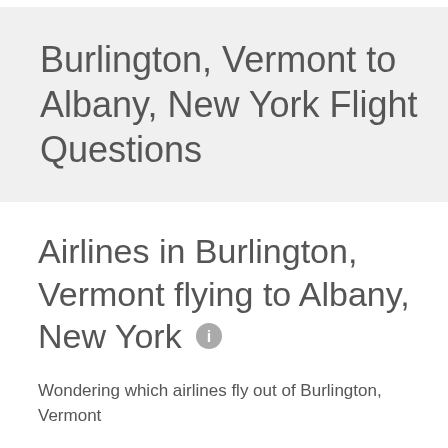Burlington, Vermont to Albany, New York Flight Questions
Airlines in Burlington, Vermont flying to Albany, New York
Wondering which airlines fly out of Burlington, Vermont